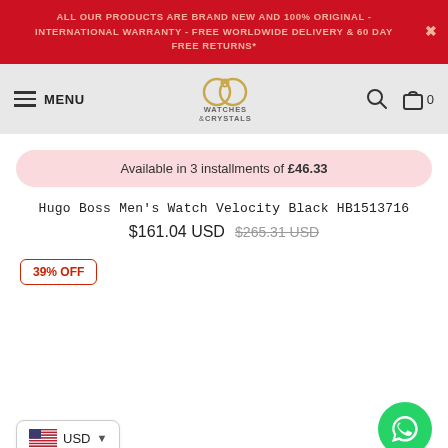ALL OUR PRODUCTS ARE BRAND NEW AND 100% ORIGINAL - INTERNATIONAL WARRANTY - FREE WORLDWIDE DELIVERY & 60 DAY FREE RETURNS*
[Figure (logo): Watches & Crystals logo with interlocked rings and text]
Available in 3 installments of £46.33
Hugo Boss Men's Watch Velocity Black HB1513716
$161.04 USD $265.31 USD
39% OFF
USD
[Figure (illustration): WhatsApp chat button green circle]